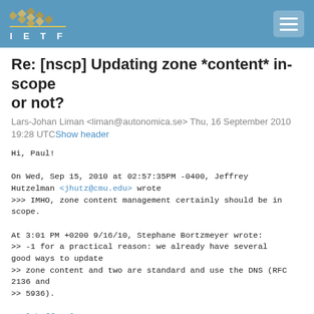IETF
Re: [nscp] Updating zone *content* in-scope or not?
Lars-Johan Liman <liman@autonomica.se> Thu, 16 September 2010 19:28 UTC Show header
Hi, Paul!

On Wed, Sep 15, 2010 at 02:57:35PM -0400, Jeffrey Hutzelman <jhutz@cmu.edu> wrote
>>> IMHO, zone content management certainly should be in scope.

At 3:01 PM +0200 9/16/10, Stephane Bortzmeyer wrote:
>> -1 for a practical reason: we already have several good ways to update
>> zone content and two are standard and use the DNS (RFC 2136 and
>> 5936).

paul.hoffman@vpnc.org:
> Aren't those only applicable when the zone admin is also running a DNS